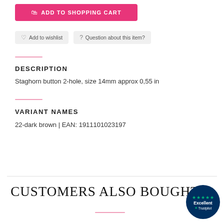[Figure (other): Pink 'ADD TO SHOPPING CART' button with shopping bag icon]
Add to wishlist   Question about this item?
DESCRIPTION
Staghorn button 2-hole, size 14mm approx 0,55 in
VARIANT NAMES
22-dark brown | EAN: 1911101023197
CUSTOMERS ALSO BOUGHT